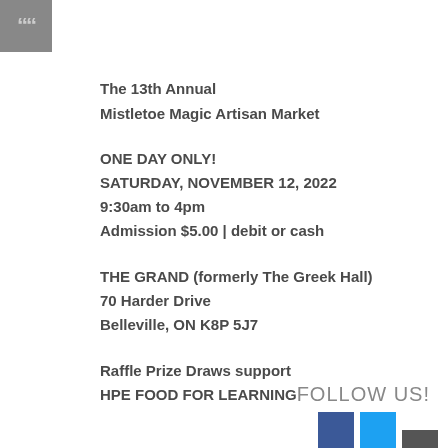[Figure (illustration): Grey square with white quotation marks in top-left corner]
The 13th Annual
Mistletoe Magic Artisan Market
ONE DAY ONLY!
SATURDAY, NOVEMBER 12, 2022
9:30am to 4pm
Admission $5.00 | debit or cash
THE GRAND (formerly The Greek Hall)
70 Harder Drive
Belleville, ON K8P 5J7
Raffle Prize Draws support
HPE FOOD FOR LEARNING
FOLLOW US!